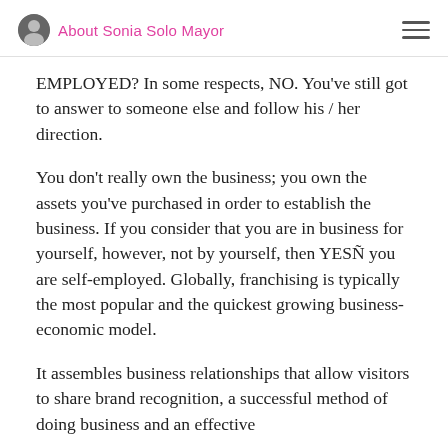About Sonia Solo Mayor
EMPLOYED? In some respects, NO. You've still got to answer to someone else and follow his / her direction.
You don't really own the business; you own the assets you've purchased in order to establish the business. If you consider that you are in business for yourself, however, not by yourself, then YESÑ you are self-employed. Globally, franchising is typically the most popular and the quickest growing business-economic model.
It assembles business relationships that allow visitors to share brand recognition, a successful method of doing business and an effective